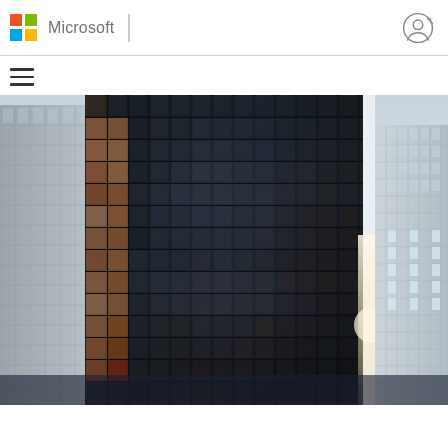Microsoft
[Figure (photo): Upward-angled photograph of tall glass skyscrapers, dominated by a dark grid-facade tower in the center reflecting other buildings, with bright sky and sunlight visible between the structures.]